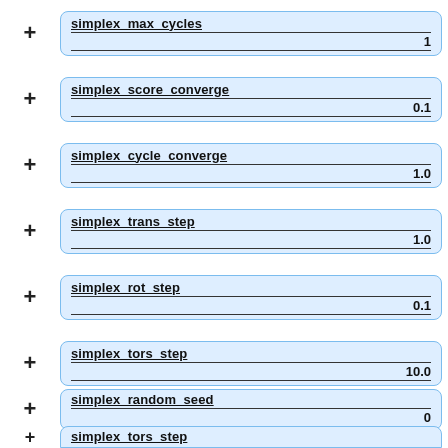[Figure (schematic): List of expandable parameter input boxes each showing a parameter name (underlined, bold) and value (bold, right-aligned), preceded by a '+' expand button. Parameters shown: simplex_max_cycles=1, simplex_score_converge=0.1, simplex_cycle_converge=1.0, simplex_trans_step=1.0, simplex_rot_step=0.1, simplex_tors_step=10.0, simplex_random_seed=0, simplex_tors_step (partial)]